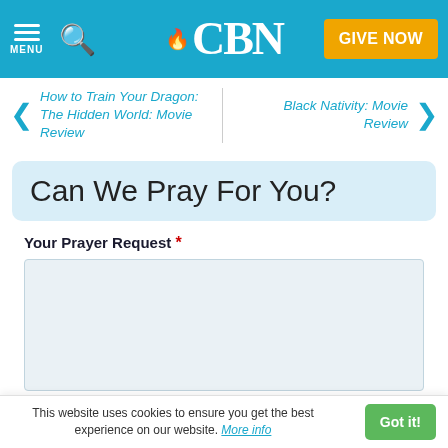CBN — MENU | GIVE NOW
How to Train Your Dragon: The Hidden World: Movie Review
Black Nativity: Movie Review
Can We Pray For You?
Your Prayer Request *
This website uses cookies to ensure you get the best experience on our website. More info  Got it!